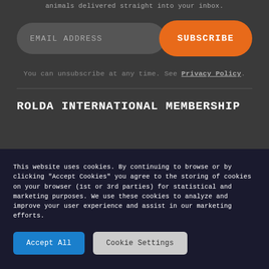animals delivered straight into your inbox.
EMAIL ADDRESS
SUBSCRIBE
You can unsubscribe at any time. See Privacy Policy.
ROLDA INTERNATIONAL MEMBERSHIP
This website uses cookies. By continuing to browse or by clicking "Accept Cookies" you agree to the storing of cookies on your browser (1st or 3rd parties) for statistical and marketing purposes. We use these cookies to analyze and improve your user experience and assist in our marketing efforts.
Accept All
Cookie Settings